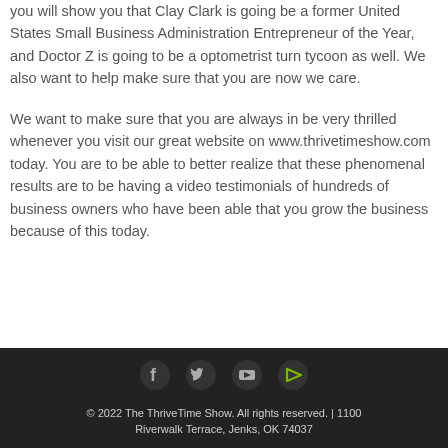you will show you that Clay Clark is going be a former United States Small Business Administration Entrepreneur of the Year, and Doctor Z is going to be a optometrist turn tycoon as well. We also want to help make sure that you are now we care.
We want to make sure that you are always in be very thrilled whenever you visit our great website on www.thrivetimeshow.com today. You are to be able to better realize that these phenomenal results are to be having a video testimonials of hundreds of business owners who have been able that you grow the business because of this today.
© 2022 The ThriveTime Show. All rights reserved. | 1100 Riverwalk Terrace, Jenks, OK 74037